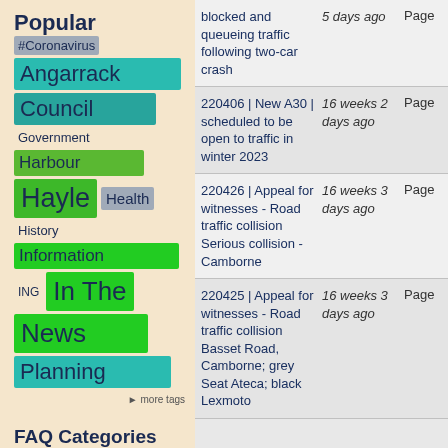Popular
#Coronavirus
Angarrack
Council
Government
Harbour
Hayle
Health
History
Information
ING
In The
News
Planning
more tags
FAQ Categories
blocked and queueing traffic following two-car crash
5 days ago
Page
220406 | New A30 | scheduled to be open to traffic in winter 2023
16 weeks 2 days ago
Page
220426 | Appeal for witnesses - Road traffic collision Serious collision - Camborne
16 weeks 3 days ago
Page
220425 | Appeal for witnesses - Road traffic collision Basset Road, Camborne; grey Seat Ateca; black Lexmoto
16 weeks 3 days ago
Page